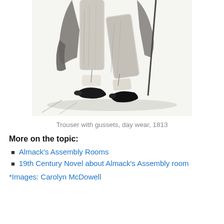[Figure (illustration): Black and white illustration showing the lower half of a man in period dress walking, wearing trousers with gussets and dark buckled shoes, with a coat and cane visible, dated 1813]
Trouser with gussets, day wear, 1813
More on the topic:
Almack's Assembly Rooms
19th Century Novel about Almack's Assembly room
*Images: Carolyn McDowell